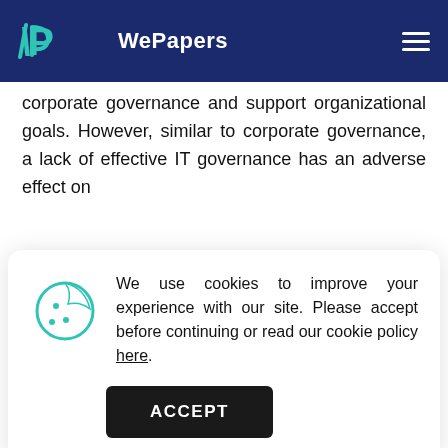WePapers
corporate governance and support organizational goals. However, similar to corporate governance, a lack of effective IT governance has an adverse effect on
We use cookies to improve your experience with our site. Please accept before continuing or read our cookie policy here.
need to enhance business imperative.
In order to avoid failure of the corporate governance, a sound IT governance is put in place to enhance the role of decision-making in the organization. The IT